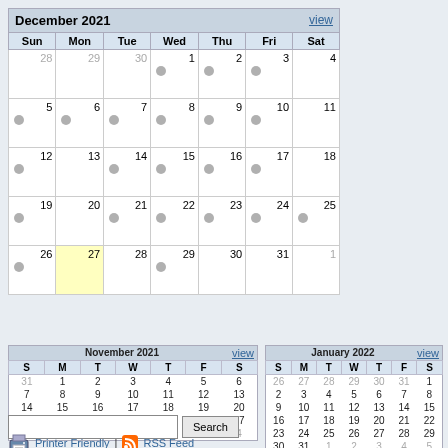| Sun | Mon | Tue | Wed | Thu | Fri | Sat |
| --- | --- | --- | --- | --- | --- | --- |
| 28 | 29 | 30 | 1 | 2 | 3 | 4 |
| 5 | 6 | 7 | 8 | 9 | 10 | 11 |
| 12 | 13 | 14 | 15 | 16 | 17 | 18 |
| 19 | 20 | 21 | 22 | 23 | 24 | 25 |
| 26 | 27 | 28 | 29 | 30 | 31 | 1 |
| S | M | T | W | T | F | S |
| --- | --- | --- | --- | --- | --- | --- |
| 31 | 1 | 2 | 3 | 4 | 5 | 6 |
| 7 | 8 | 9 | 10 | 11 | 12 | 13 |
| 14 | 15 | 16 | 17 | 18 | 19 | 20 |
| 21 | 22 | 23 | 24 | 25 | 26 | 27 |
| 28 | 29 | 30 | 1 | 2 | 3 | 4 |
| S | M | T | W | T | F | S |
| --- | --- | --- | --- | --- | --- | --- |
| 26 | 27 | 28 | 29 | 30 | 31 | 1 |
| 2 | 3 | 4 | 5 | 6 | 7 | 8 |
| 9 | 10 | 11 | 12 | 13 | 14 | 15 |
| 16 | 17 | 18 | 19 | 20 | 21 | 22 |
| 23 | 24 | 25 | 26 | 27 | 28 | 29 |
| 30 | 31 | 1 | 2 | 3 | 4 | 5 |
Printer Friendly | RSS Feed
Powered by PHP iCalendar 2.24